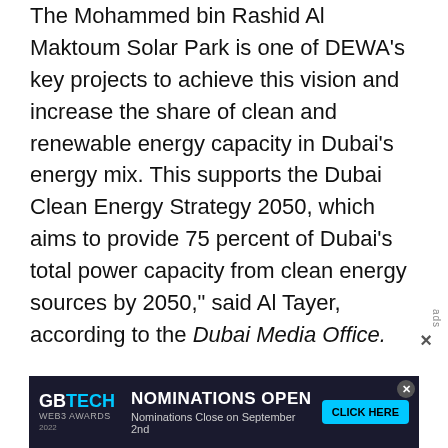The Mohammed bin Rashid Al Maktoum Solar Park is one of DEWA's key projects to achieve this vision and increase the share of clean and renewable energy capacity in Dubai's energy mix. This supports the Dubai Clean Energy Strategy 2050, which aims to provide 75 percent of Dubai's total power capacity from clean energy sources by 2050," said Al Tayer, according to the Dubai Media Office.
DEWA's has carried out major projects in cooperation with the private sector, based on the Independent Power Producer (IPP) model. Through this model, DEWA received the lowest solar energy prices (Levelised Cost of Energy) globally five consecutive times. Waleed Salman, executive vice
[Figure (other): Advertisement banner for GBTECH WEB3 AWARDS 2022 with text NOMINATIONS OPEN, Nominations Close on September 2nd, and a CLICK HERE button.]